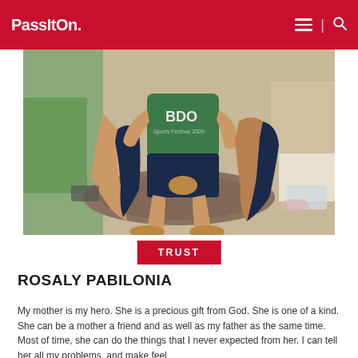PassItOn.
[Figure (photo): Two people squatting/sitting on the floor; one is wearing a green BDO Sports Festival 2009 t-shirt and dark shorts. Bare feet visible. Various items on the floor around them.]
TRUST
ROSALY PABILONIA
My mother is my hero. She is a precious gift from God. She is one of a kind. She can be a mother a friend and as well as my father as the same time. Most of time, she can do the things that I never expected from her. I can tell her all my problems, and make feel